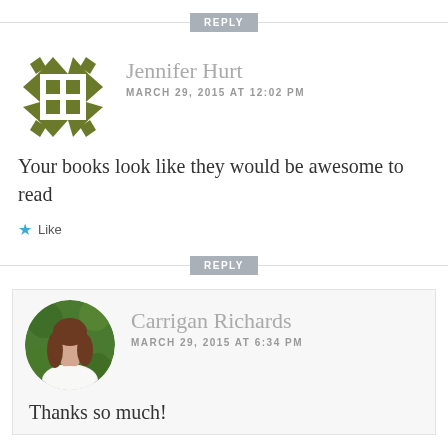[Figure (other): REPLY button with horizontal divider line]
[Figure (illustration): Jennifer Hurt avatar: olive green geometric pattern/logo with diamonds and squares]
Jennifer Hurt
MARCH 29, 2015 AT 12:02 PM
Your books look like they would be awesome to read
Like
[Figure (other): REPLY button with horizontal divider line]
[Figure (photo): Carrigan Richards profile photo: woman with brown hair, white top, green background]
Carrigan Richards
MARCH 29, 2015 AT 6:34 PM
Thanks so much!